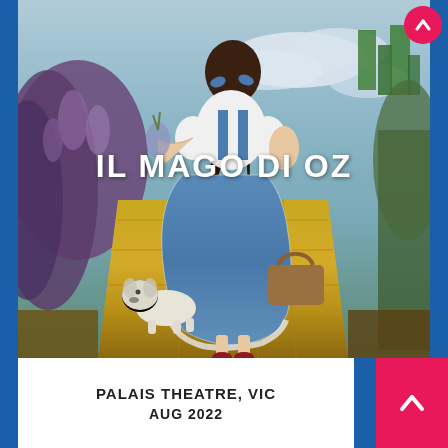[Figure (photo): Theatrical poster for 'Il Mago di Oz' (The Wizard of Oz) showing Dorothy from behind, wearing a blue gingham dress and carrying a basket, walking on the yellow brick road with her small white dog Toto beside her. Green landscape and cloudy sky in background.]
IL MAGO DI OZ
PALAIS THEATRE, VIC
AUG 2022